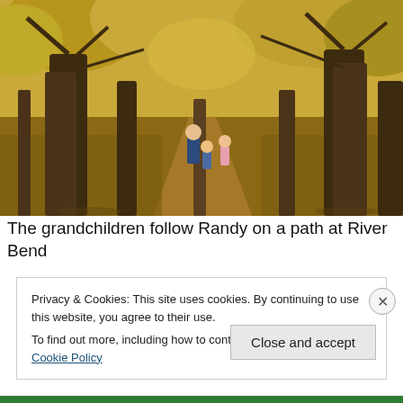[Figure (photo): A family walking on a leaf-covered path through an autumn forest with tall trees and golden foliage. Three figures walking away from camera on a shaded trail.]
The grandchildren follow Randy on a path at River Bend
Privacy & Cookies: This site uses cookies. By continuing to use this website, you agree to their use.
To find out more, including how to control cookies, see here: Cookie Policy
Close and accept